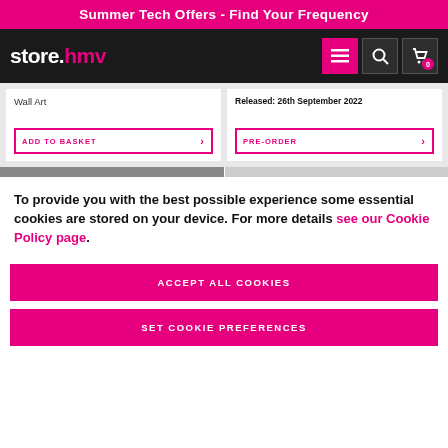Summer Tech Offers - Find Your Frequency
[Figure (screenshot): store.hmv logo with navigation icons (hamburger menu, search, cart with badge '0') on dark background]
Wall Art
Released: 26th September 2022
ADD TO BASKET
PRE-ORDER
To provide you with the best possible experience some essential cookies are stored on your device. For more details see our Cookie Policy page.
ACCEPT ALL COOKIES
SET COOKIE PREFERENCES